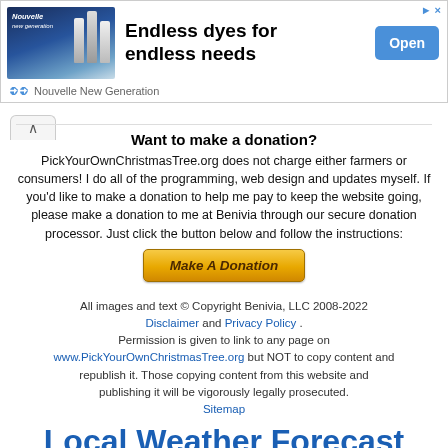[Figure (screenshot): Advertisement banner for Nouvelle New Generation hair dye products. Shows product bottles on left, bold text 'Endless dyes for endless needs' in center, blue 'Open' button on right, with Nouvelle New Generation branding below.]
Want to make a donation?
PickYourOwnChristmasTree.org does not charge either farmers or consumers! I do all of the programming, web design and updates myself. If you'd like to make a donation to help me pay to keep the website going, please make a donation to me at Benivia through our secure donation processor. Just click the button below and follow the instructions:
[Figure (screenshot): Orange/gold 'Make A Donation' button with italic bold text]
All images and text © Copyright Benivia, LLC 2008-2022 Disclaimer and Privacy Policy . Permission is given to link to any page on www.PickYourOwnChristmasTree.org but NOT to copy content and republish it. Those copying content from this website and publishing it will be vigorously legally prosecuted. Sitemap
Local Weather Forecast (Scroll